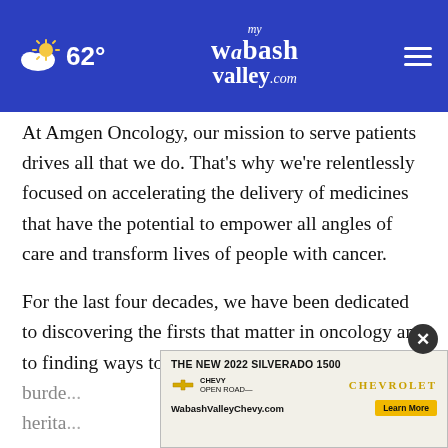62° myWabashValley.com
At Amgen Oncology, our mission to serve patients drives all that we do. That's why we're relentlessly focused on accelerating the delivery of medicines that have the potential to empower all angles of care and transform lives of people with cancer.

For the last four decades, we have been dedicated to discovering the firsts that matter in oncology and to finding ways to reduce the burden... heritage...
[Figure (screenshot): Advertisement banner for The New 2022 Silverado 1500 from WabashValleyChevy.com with Chevrolet logo and Learn More button. A close button (X) overlays the ad.]